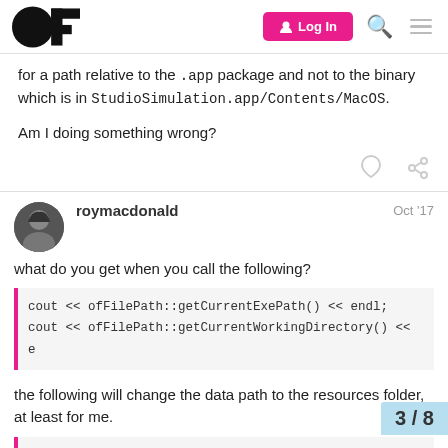OF logo | Log In | Search | Menu
for a path relative to the .app package and not to the binary which is in StudioSimulation.app/Contents/MacOS.
Am I doing something wrong?
roymacdonald   Oct '17
what do you get when you call the following?
cout << ofFilePath::getCurrentExePath() << endl;
cout << ofFilePath::getCurrentWorkingDirectory() << e
the following will change the data path to the resources folder, at least for me.
3 / 8